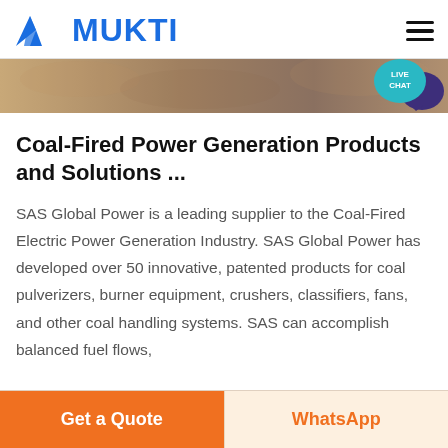MUKTI
[Figure (screenshot): Partial image strip of industrial coal-fired power equipment]
Coal-Fired Power Generation Products and Solutions ...
SAS Global Power is a leading supplier to the Coal-Fired Electric Power Generation Industry. SAS Global Power has developed over 50 innovative, patented products for coal pulverizers, burner equipment, crushers, classifiers, fans, and other coal handling systems. SAS can accomplish balanced fuel flows,
Get a Quote   WhatsApp